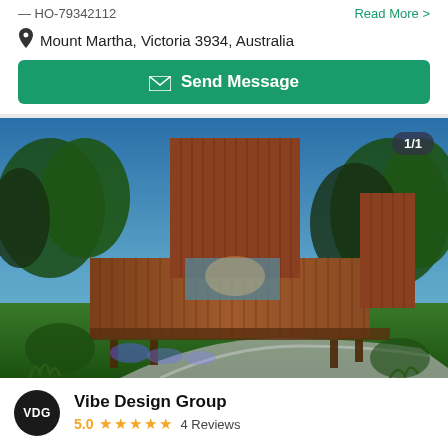— HO-79342112
Read More >
Mount Martha, Victoria 3934, Australia
Send Message
[Figure (photo): Modern wooden house with vertical timber cladding at dusk, illuminated from below with blue and warm lighting, surrounded by green lawn and trees. Image counter badge shows 1/1.]
Vibe Design Group
5.0  4 Reviews